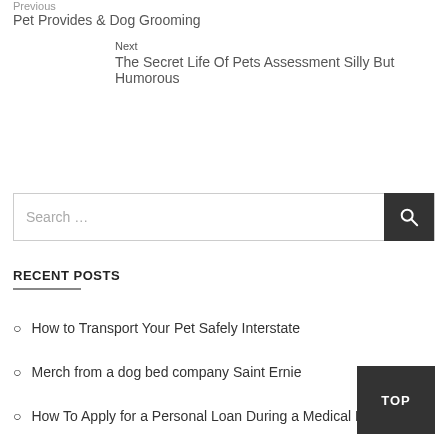Previous
Pet Provides & Dog Grooming
Next
The Secret Life Of Pets Assessment Silly But Humorous
Search ...
RECENT POSTS
How to Transport Your Pet Safely Interstate
Merch from a dog bed company Saint Ernie
How To Apply for a Personal Loan During a Medical Emergency